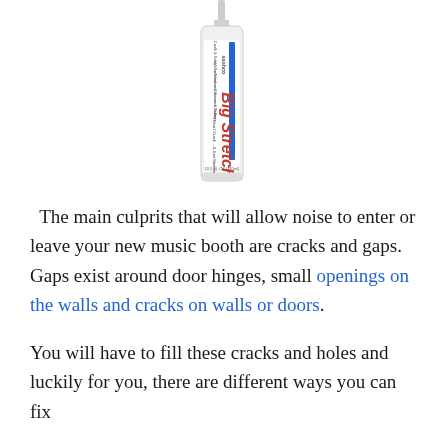[Figure (photo): A tube/cartridge of Big Stretch caulk sealant product, white cylindrical tube with red and blue label text, shown vertically with nozzle pointing up.]
The main culprits that will allow noise to enter or leave your new music booth are cracks and gaps. Gaps exist around door hinges, small openings on the walls and cracks on walls or doors.
You will have to fill these cracks and holes and luckily for you, there are different ways you can fix